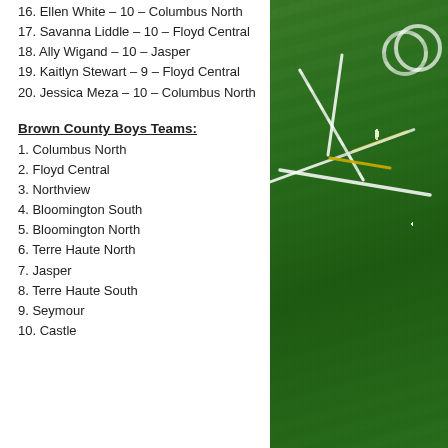16. Ellen White – 10 – Columbus North
17. Savanna Liddle – 10 – Floyd Central
18. Ally Wigand – 10 – Jasper
19. Kaitlyn Stewart – 9 – Floyd Central
20. Jessica Meza – 10 – Columbus North
Brown County Boys Teams:
1. Columbus North
2. Floyd Central
3. Northview
4. Bloomington South
5. Bloomington North
6. Terre Haute North
7. Jasper
8. Terre Haute South
9. Seymour
10. Castle
[Figure (photo): Football field corner showing green grass with white and yellow yard line markings]